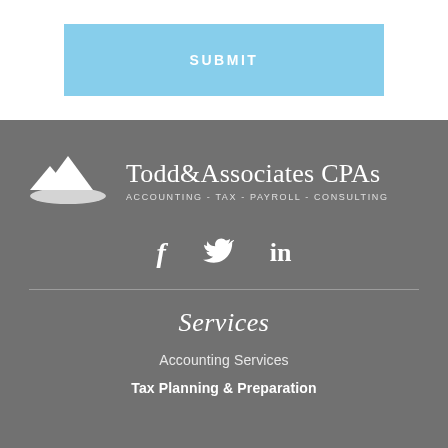SUBMIT
[Figure (logo): Todd & Associates CPAs logo with mountain graphic and tagline: ACCOUNTING - TAX - PAYROLL - CONSULTING]
[Figure (infographic): Social media icons: Facebook (f), Twitter (bird), LinkedIn (in)]
Services
Accounting Services
Tax Planning & Preparation